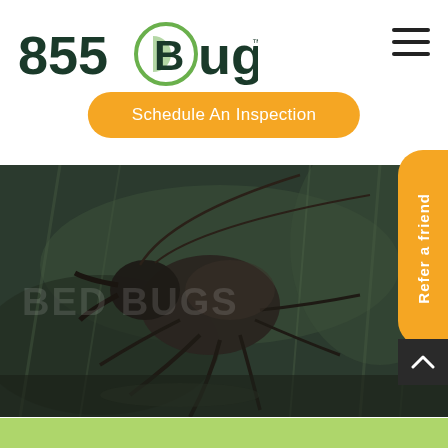[Figure (logo): 855Bugs.com logo with circular B icon in dark green and light green]
[Figure (other): Hamburger/menu icon (three horizontal lines)]
[Figure (other): Orange rounded button reading Schedule An Inspection]
[Figure (photo): Close-up macro photograph of a dark insect (ant or similar bug) against a dark green blurred background, with faint text BED BUGS watermarked]
Refer a friend
[Figure (other): Light green horizontal bar at the bottom of the page]